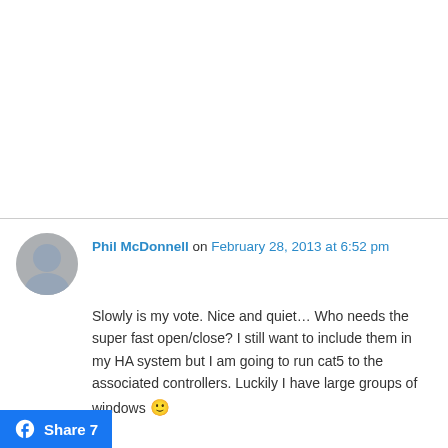Phil McDonnell on February 28, 2013 at 6:52 pm
Slowly is my vote. Nice and quiet… Who needs the super fast open/close? I still want to include them in my HA system but I am going to run cat5 to the associated controllers. Luckily I have large groups of windows 🙂
↳ Reply
Yusuf on March 31, 2013 at 10:01 pm
Hey! I am trying to build this arduino blind project. I have it completed, but I can not figure out how to attach the servo to